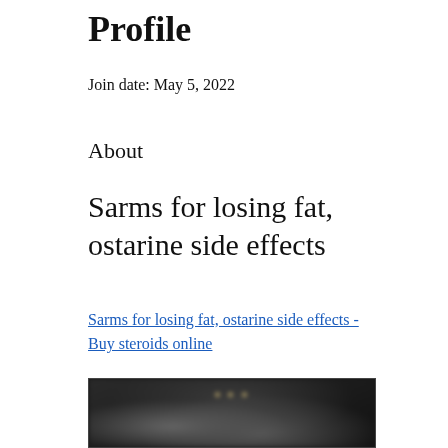Profile
Join date: May 5, 2022
About
Sarms for losing fat, ostarine side effects
Sarms for losing fat, ostarine side effects - Buy steroids online
[Figure (photo): Dark blurred image, possibly showing a person or product, with partial text overlay]